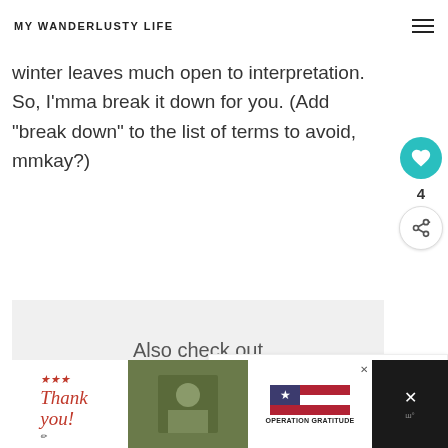MY WANDERLUSTY LIFE
winter leaves much open to interpretation. So, I'mma break it down for you. (Add “break down” to the list of terms to avoid, mmkay?)
Also check out
[Figure (screenshot): What's Next widget showing a circular photo thumbnail and text 'What to Pack for Arizona i...' with orange arrow label 'WHAT'S NEXT']
[Figure (screenshot): Advertisement bar at bottom: Operation Gratitude thank you ad with military photo and logo, with close button]